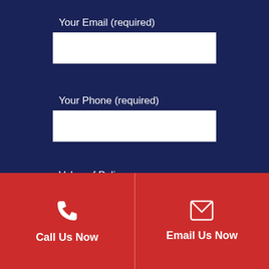Your Email (required)
Your Phone (required)
Value of Policy
Tell Us About Your Case
Call Us Now
Email Us Now